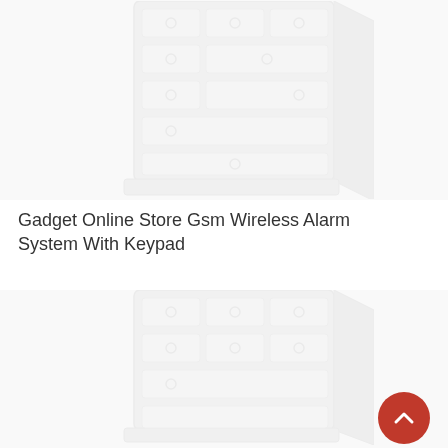[Figure (illustration): Illustration of a white multi-drawer dresser/chest of drawers with circular handles, viewed at an angle, partially cropped at top]
Gadget Online Store Gsm Wireless Alarm System With Keypad
[Figure (illustration): Illustration of a white multi-drawer dresser/chest of drawers with circular handles, viewed at an angle, partially cropped showing bottom portion]